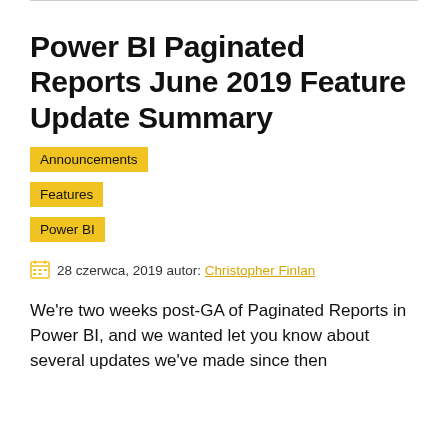Power BI Paginated Reports June 2019 Feature Update Summary
Announcements
Features
Power BI
28 czerwca, 2019 autor: Christopher Finlan
We're two weeks post-GA of Paginated Reports in Power BI, and we wanted let you know about several updates we've made since then